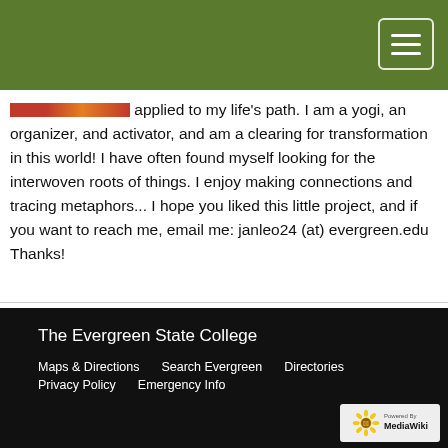The Evergreen State College – site header with navigation menu button
applied to my life's path. I am a yogi, an organizer, and activator, and am a clearing for transformation in this world! I have often found myself looking for the interwoven roots of things. I enjoy making connections and tracing metaphors... I hope you liked this little project, and if you want to reach me, email me: janleo24 (at) evergreen.edu Thanks!
The Evergreen State College
Maps & Directions   Search Evergreen   Directories
Privacy Policy   Emergency Info
Powered by MediaWiki